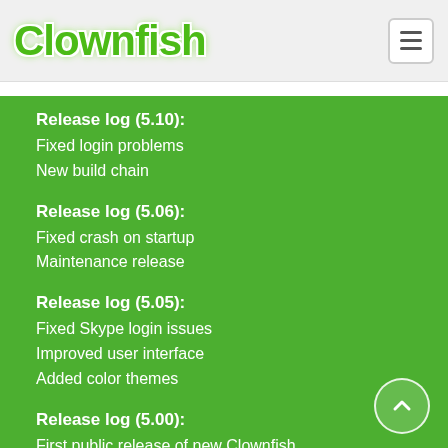Clownfish
Release log (5.10):
Fixed login problems
New build chain
Release log (5.06):
Fixed crash on startup
Maintenance release
Release log (5.05):
Fixed Skype login issues
Improved user interface
Added color themes
Release log (5.00):
First public release of new Clownfish
New Skype login mechanism
Almost every part is improved and redesigned
Removed all non-working modules